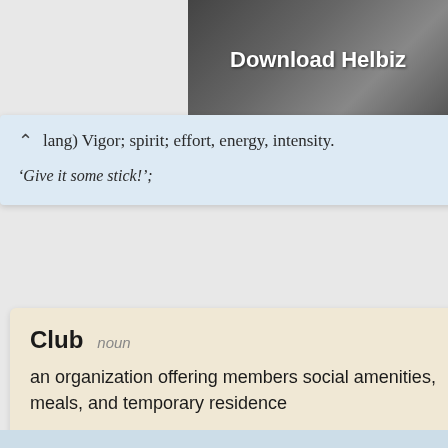[Figure (screenshot): Photo banner showing a scooter with text 'Download Helbiz' in white bold text on a dark background]
(slang) Vigor; spirit; effort, energy, intensity.
‘Give it some stick!’;
Club  noun
an organization offering members social amenities, meals, and temporary residence
‘we had dinner at his club’;